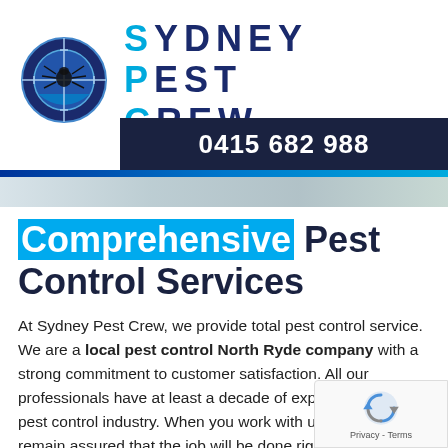[Figure (logo): Sydney Pest Crew logo: circular blue/grey emblem with crosshair and spider silhouette, next to bold navy text reading SYDNEY PEST CREW with cyan first letters S, P, C]
0415 682 988
Comprehensive Pest Control Services
At Sydney Pest Crew, we provide total pest control service. We are a local pest control North Ryde company with a strong commitment to customer satisfaction. All our professionals have at least a decade of experience in the pest control industry. When you work with us, you can remain assured that the job will be done right the fir